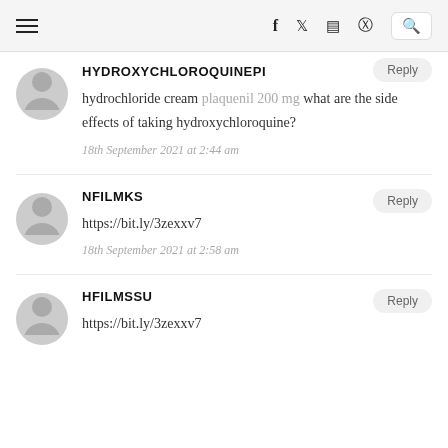Navigation bar with hamburger menu, social icons (f, twitter, instagram, pinterest), and search
Reply
HYDROXYCHLOROQUINEPI
hydrochloride cream plaquenil 200 mg what are the side effects of taking hydroxychloroquine?
18th September 2021 at 2:44 am
NFILMKS
Reply
https://bit.ly/3zexxv7
18th September 2021 at 2:58 am
HFILMSSU
Reply
https://bit.ly/3zexxv7